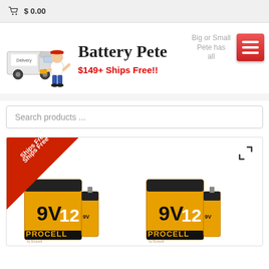$ 0.00
[Figure (logo): Battery Pete mascot logo with delivery truck and character holding batteries]
Battery Pete
Big or Small Pete has all
$149+ Ships Free!!
Search products ...
[Figure (photo): Two Procell 9V 12-pack battery boxes side by side]